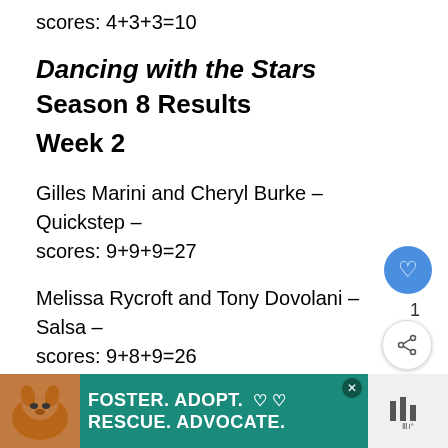scores: 4+3+3=10
Dancing with the Stars Season 8 Results Week 2
Gilles Marini and Cheryl Burke – Quickstep – scores: 9+9+9=27
Melissa Rycroft and Tony Dovolani – Salsa – scores: 9+8+9=26
Shawn Johnson and Mark Ballas – Salsa – scores: 8+8+8=24
Lil' Kim and Derek Hough – Quickstep – scores: 8+
[Figure (other): Advertisement banner: Foster. Adopt. Rescue. Advocate. with dog image]